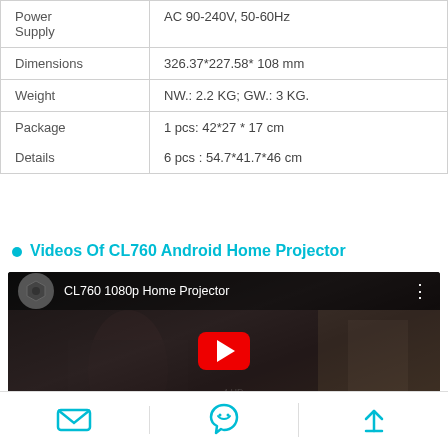| Property | Value |
| --- | --- |
| Power Supply | AC 90-240V, 50-60Hz |
| Dimensions | 326.37*227.58* 108 mm |
| Weight | NW.: 2.2 KG; GW.: 3 KG. |
| Package Details | 1 pcs: 42*27 * 17 cm
6 pcs : 54.7*41.7*46 cm |
Videos Of CL760 Android Home Projector
[Figure (screenshot): YouTube video thumbnail for 'CL760 1080p Home Projector' showing a woman with long hair in a dark cinematic scene, with a red YouTube play button overlay and the video title in the top bar.]